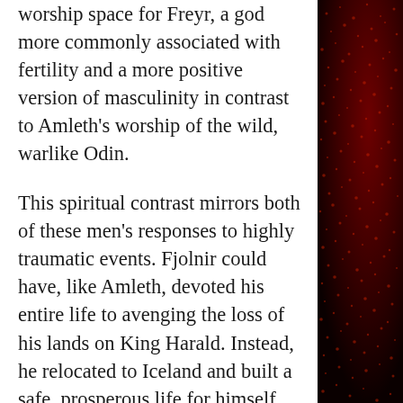worship space for Freyr, a god more commonly associated with fertility and a more positive version of masculinity in contrast to Amleth's worship of the wild, warlike Odin.

This spiritual contrast mirrors both of these men's responses to highly traumatic events. Fjolnir could have, like Amleth, devoted his entire life to avenging the loss of his lands on King Harald. Instead, he relocated to Iceland and built a safe, prosperous life for himself and his family.  In the face of loss he chose to focus on protecting the people he loved and making the best life he could for them.  Fjolnir only truly gives in to his lust for vengeance after Amleth has killed
[Figure (other): Dark red/black textured background pattern on the right side of the page]